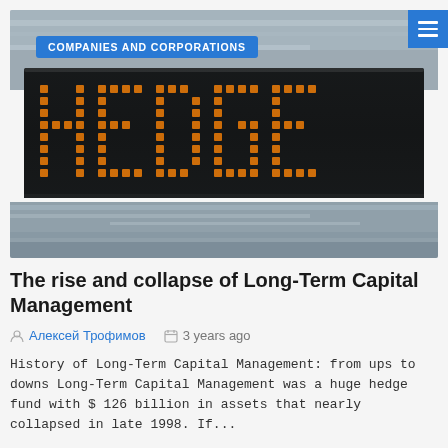[Figure (photo): A digital LED display board showing the word HEDGE in large orange/amber block letters against a black background, with a blurred grey background suggesting motion or a train station environment.]
COMPANIES AND CORPORATIONS
The rise and collapse of Long-Term Capital Management
Алексей Трофимов   3 years ago
History of Long-Term Capital Management: from ups to downs Long-Term Capital Management was a huge hedge fund with $ 126 billion in assets that nearly collapsed in late 1998. If...